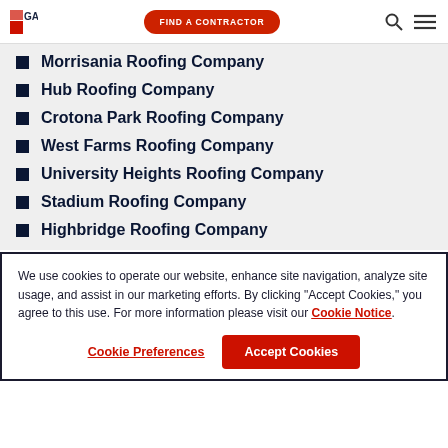GAF | FIND A CONTRACTOR
Morrisania Roofing Company
Hub Roofing Company
Crotona Park Roofing Company
West Farms Roofing Company
University Heights Roofing Company
Stadium Roofing Company
Highbridge Roofing Company
We use cookies to operate our website, enhance site navigation, analyze site usage, and assist in our marketing efforts. By clicking "Accept Cookies," you agree to this use. For more information please visit our Cookie Notice.
Cookie Preferences | Accept Cookies